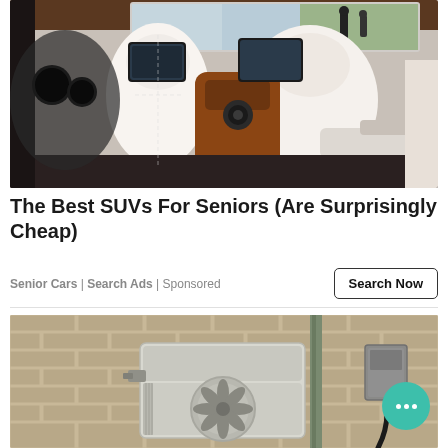[Figure (photo): Luxury SUV interior showing cream and brown leather seats, rear entertainment screens, and front dashboard viewed from the backseat]
The Best SUVs For Seniors (Are Surprisingly Cheap)
Senior Cars | Search Ads | Sponsored
[Figure (photo): Outdoor HVAC/air conditioning unit mounted on a brick wall with electrical conduit and junction box]